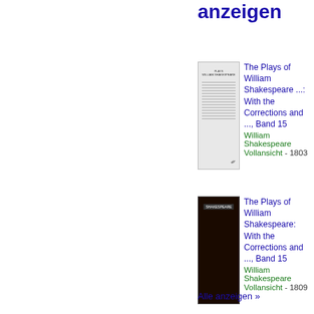Ausgaben · Alle anzeigen
The Plays of William Shakespeare ...: With the Corrections and ..., Band 15 — William Shakespeare — Vollansicht - 1803
The Plays of William Shakespeare: With the Corrections and ..., Band 15 — William Shakespeare — Vollansicht - 1809
The Plays of William Shakespeare: With the Corrections and ..., Band 15 — William Shakespeare — Vollansicht - 1809
Alle anzeigen »